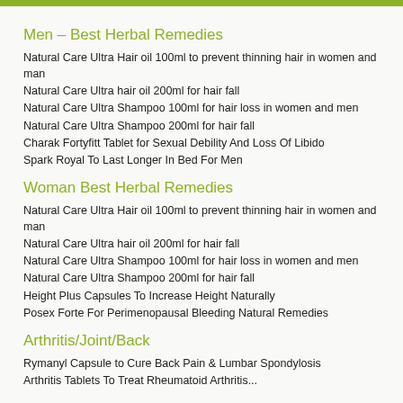Men – Best Herbal Remedies
Natural Care Ultra Hair oil 100ml to prevent thinning hair in women and man
Natural Care Ultra hair oil 200ml for hair fall
Natural Care Ultra Shampoo 100ml for hair loss in women and men
Natural Care Ultra Shampoo 200ml for hair fall
Charak Fortyfitt Tablet for Sexual Debility And Loss Of Libido
Spark Royal To Last Longer In Bed For Men
Woman Best Herbal Remedies
Natural Care Ultra Hair oil 100ml to prevent thinning hair in women and man
Natural Care Ultra hair oil 200ml for hair fall
Natural Care Ultra Shampoo 100ml for hair loss in women and men
Natural Care Ultra Shampoo 200ml for hair fall
Height Plus Capsules To Increase Height Naturally
Posex Forte For Perimenopausal Bleeding Natural Remedies
Arthritis/Joint/Back
Rymanyl Capsule to Cure Back Pain & Lumbar Spondylosis
Arthritis Tablets To Treat Rheumatoid Arthritis...